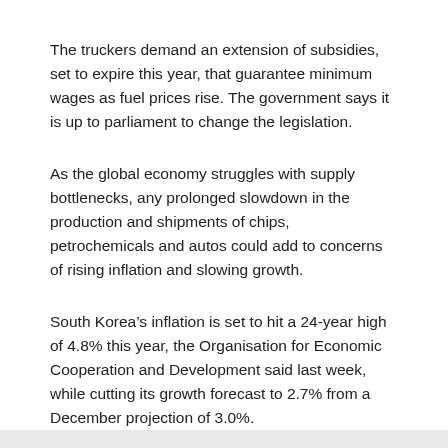The truckers demand an extension of subsidies, set to expire this year, that guarantee minimum wages as fuel prices rise. The government says it is up to parliament to change the legislation.
As the global economy struggles with supply bottlenecks, any prolonged slowdown in the production and shipments of chips, petrochemicals and autos could add to concerns of rising inflation and slowing growth.
South Korea’s inflation is set to hit a 24-year high of 4.8% this year, the Organisation for Economic Cooperation and Development said last week, while cutting its growth forecast to 2.7% from a December projection of 3.0%.